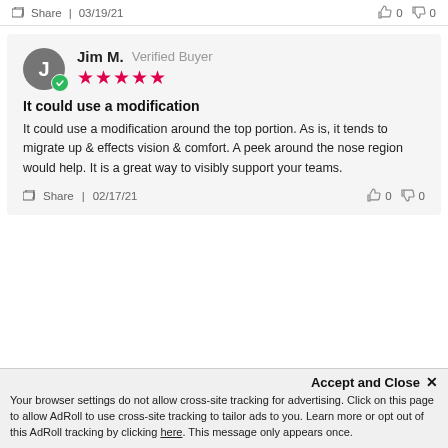Share | 03/19/21   👍 0  👎 0
Jim M.  Verified Buyer
★★★★★
It could use a modification
It could use a modification around the top portion. As is, it tends to migrate up & effects vision & comfort. A peek around the nose region would help. It is a great way to visibly support your teams.
Share | 02/17/21   👍 0  👎 0
Your browser settings do not allow cross-site tracking for advertising. Click on this page to allow AdRoll to use cross-site tracking to tailor ads to you. Learn more or opt out of this AdRoll tracking by clicking here. This message only appears once.